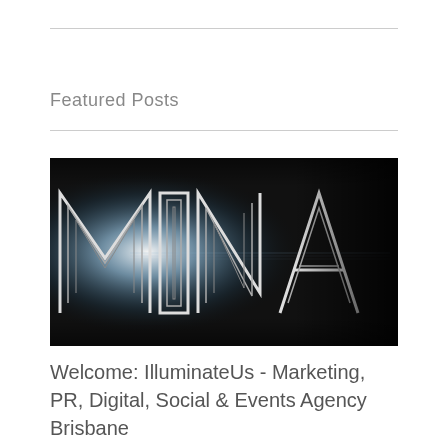Featured Posts
[Figure (logo): MINA logo — large stylized chrome/neon letters 'MINA' on a dark background with glowing light effect, partially cropped on the right]
Welcome: IlluminateUs - Marketing, PR, Digital, Social & Events Agency Brisbane